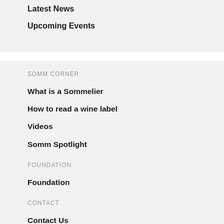Latest News
Upcoming Events
SOMM CORNER
What is a Sommelier
How to read a wine label
Videos
Somm Spotlight
FOUNDATION
Foundation
CONTACT
Contact Us
Terms Of Service